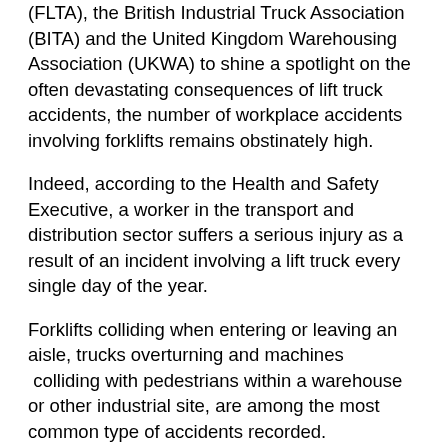(FLTA), the British Industrial Truck Association (BITA) and the United Kingdom Warehousing Association (UKWA) to shine a spotlight on the often devastating consequences of lift truck accidents, the number of workplace accidents involving forklifts remains obstinately high.
Indeed, according to the Health and Safety Executive, a worker in the transport and distribution sector suffers a serious injury as a result of an incident involving a lift truck every single day of the year.
Forklifts colliding when entering or leaving an aisle, trucks overturning and machines  colliding with pedestrians within a warehouse or other industrial site, are among the most common type of accidents recorded.
And, in the overwhelming majority of cases, responsibility for the mishap is initially deemed to lie with the truck operator so, clearly, any innovations in lift truck technology that alert the operator to approaching risks have a crucial part to play in